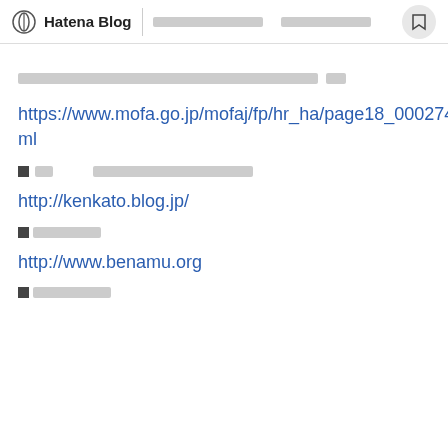Hatena Blog [nav items] [bookmark icon]
[Japanese text placeholder - article heading]
https://www.mofa.go.jp/mofaj/fp/hr_ha/page18_000274.html
■□□ [Japanese text placeholder]
http://kenkato.blog.jp/
■□□□□□
http://www.benamu.org
■□□□□□□□